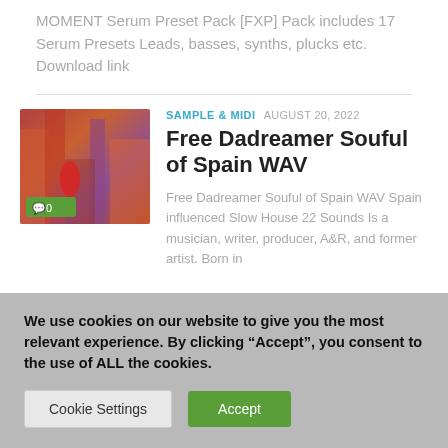MOMENT Serum Preset Pack [FXP] Pack includes 17 Serum Presets Leads, basses, synths, plucks etc. Download link
[Figure (photo): Thumbnail image showing a colorful street scene with reds and purples, with a green comment badge showing 0 comments]
SAMPLE & MIDI  AUGUST 20, 2022
Free Dadreamer Souful of Spain WAV
Free Dadreamer Souful of Spain WAV Spain influenced Slow House 22 Sounds Is a musician, writer, producer, A&R, and former artist. Born in
We use cookies on our website to give you the most relevant experience. By clicking “Accept”, you consent to the use of ALL the cookies.